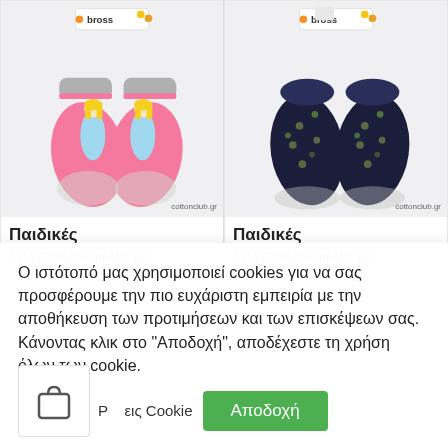[Figure (photo): Pink children's anti-slip slipper socks with princess design, Bross brand, on white background. Watermark: cottonclub.gr]
Παιδικές
Καλτσοπαντόφλες με
[Figure (photo): Dark navy children's anti-slip slipper socks with floral/snowflake design, Bross brand, on white background. Watermark: cottonclub.gr]
Παιδικές
Καλτσοπαντόφλες με
Ο ιστότοπό μας χρησιμοποιεί cookies για να σας προσφέρουμε την πιο ευχάριστη εμπειρία με την αποθήκευση των προτιμήσεων και των επισκέψεων σας. Κάνοντας κλικ στο "Αποδοχή", αποδέχεστε τη χρήση όλων των cookie.
Ρ    sis Cookie
Αποδοχή